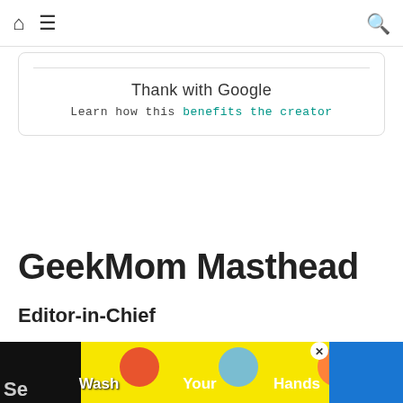Home | Menu | Search
Thank with Google
Learn how this benefits the creator
GeekMom Masthead
Editor-in-Chief
Jenny Bristol
Publisher
Ken Denmead
[Figure (other): Wash Your Hands Often advertisement banner at bottom of page]